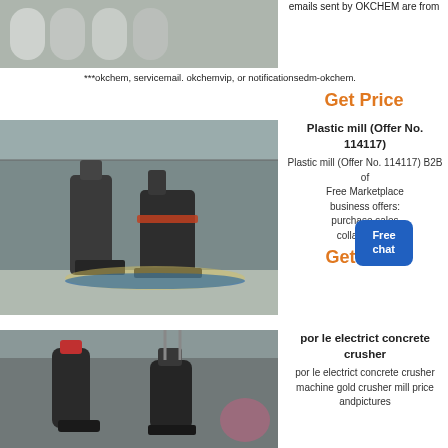[Figure (photo): Industrial pipes/tubes in a warehouse or factory setting]
emails sent by OKCHEM are from
***okchem, servicemail. okchemvip, or notificationsedm-okchem.
Get Price
[Figure (photo): Large industrial plastic mill machines in a factory hall]
Plastic mill (Offer No. 114117)
Plastic mill (Offer No. 114117) B2B offers Free Marketplace business offers: purchase sales collaboration
Get Price
[Figure (photo): Industrial concrete crusher machines in a factory]
por le electrict concrete crusher
por le electrict concrete crusher machine gold crusher mill price andpictures